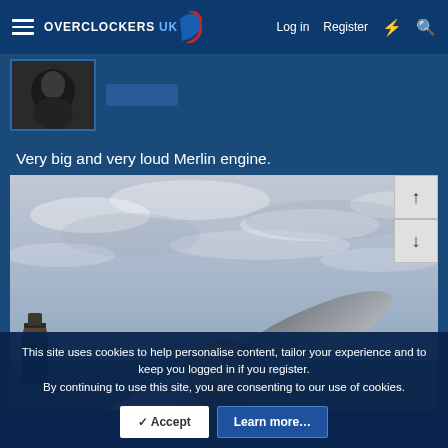Overclockers UK — Log in | Register
[Figure (photo): Avatar/profile picture of a user, dark image]
Very big and very loud Merlin engine.
[Figure (photo): Photograph taken from low angle showing large polished metal propeller blades of an aircraft (Merlin engine) against a cloudy sky. A person in a cap is visible in the lower left. Green trees in background.]
This site uses cookies to help personalise content, tailor your experience and to keep you logged in if you register.
By continuing to use this site, you are consenting to our use of cookies.